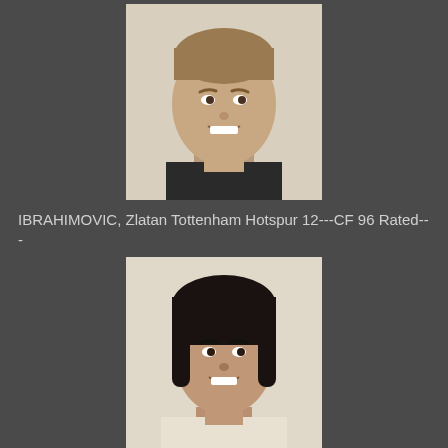[Figure (photo): Headshot photo of a light-skinned male footballer with short blonde/brown hair, smiling, wearing a dark collar shirt]
IBRAHIMOVIC, Zlatan Tottenham Hotspur 12---CF 96 Rated---
[Figure (photo): Headshot photo of a male footballer with medium-length dark hair, smiling, wearing a white shirt]
ROBINHO, Souza Chelsea 11 ---Forward 93 Rated---
[Figure (photo): Headshot photo of a dark-skinned male footballer with short hair, smiling broadly]